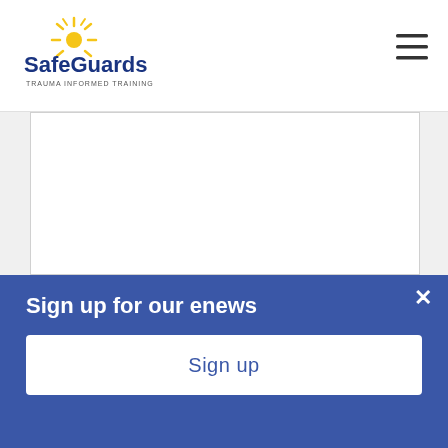SafeGuards TRAUMA INFORMED TRAINING
[Figure (illustration): SafeGuards logo with sun rays icon above the text 'SafeGuards' in dark blue bold, and 'TRAUMA INFORMED TRAINING' subtitle below in smaller text]
[Figure (other): Hamburger menu icon (three horizontal lines) in top right of header]
[Figure (other): Large white content area with border, mostly blank]
Sign up for our enews
Sign up